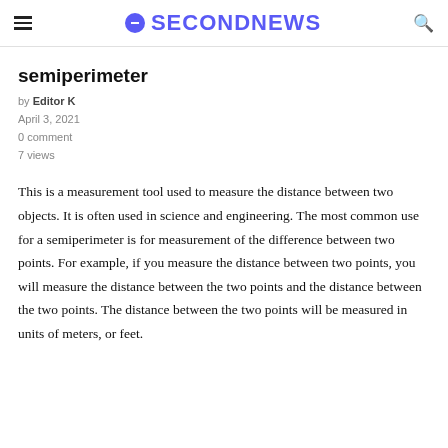SECONDNEWS
semiperimeter
by Editor K
April 3, 2021
0 comment
7 views
This is a measurement tool used to measure the distance between two objects. It is often used in science and engineering. The most common use for a semiperimeter is for measurement of the difference between two points. For example, if you measure the distance between two points, you will measure the distance between the two points and the distance between the two points. The distance between the two points will be measured in units of meters, or feet.